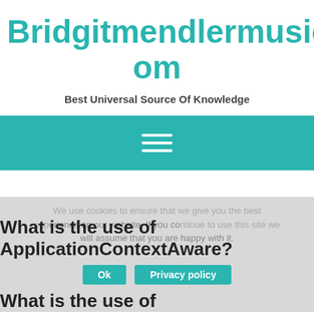Bridgitmendlermusic.Com
Best Universal Source Of Knowledge
[Figure (other): Teal navigation bar with hamburger menu icon (three horizontal white lines)]
We use cookies to ensure that we give you the best experience on our website. If you continue to use this site we will assume that you are happy with it.
What is the use of ApplicationContextAware?
What is the use of